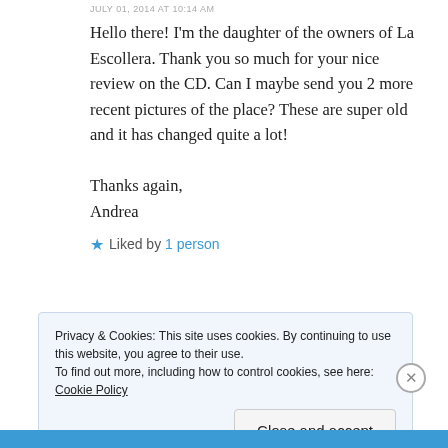JULY 01, 2014 AT 10:14 AM
Hello there! I'm the daughter of the owners of La Escollera. Thank you so much for your nice review on the CD. Can I maybe send you 2 more recent pictures of the place? These are super old and it has changed quite a lot!

Thanks again,
Andrea
★ Liked by 1 person
Privacy & Cookies: This site uses cookies. By continuing to use this website, you agree to their use.
To find out more, including how to control cookies, see here: Cookie Policy
Close and accept